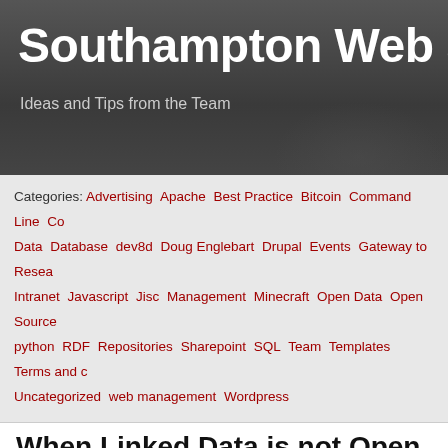Southampton Web and Data — Ideas and Tips from the Team
Categories: Advertising Apache Best Practice Bitcoin Command Line Co... Data Database dev8d Doug Englebart Drupal Events Gateway to Resea... Intranet Javascript Jisc Management Minecraft Open Data Open Source python RDF Repositories Sharepoint SQL Team Templates Terms and c... Uncategorized web management Wordpress
When Linked Data is not Open Data
I made a mistake! Potentially one which could have exposed information to the Inte... should have never left the Internet. It's unlikely that anything leaked out, and the ho... closed for good.
IP-range restricted pages subverted by proxys
Here's what happened: A few years back we set up our first stab at an RDF service... This only contained information on members who had agreed to appear in our publ... and never contained information on peoples offices. However, we wanted to play w... in RDF...